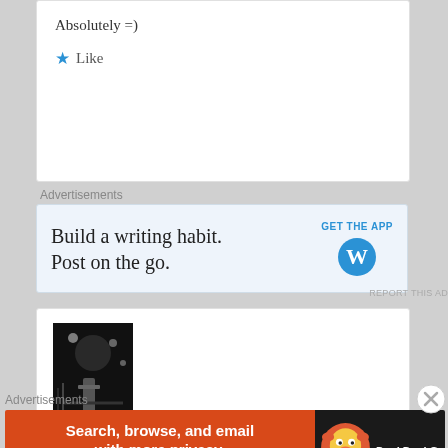Absolutely =)
Like
Advertisements
[Figure (other): WordPress mobile app advertisement banner: 'Build a writing habit. Post on the go.' with GET THE APP link and WordPress logo]
REPORT THIS AD
[Figure (photo): Black and white street photography image showing a person walking on a night street with lights]
leafstrewngirl on 2013-02-18 at
Advertisements
[Figure (other): DuckDuckGo advertisement: 'Search, browse, and email with more privacy. All in One Free App' on orange background with DuckDuckGo logo]